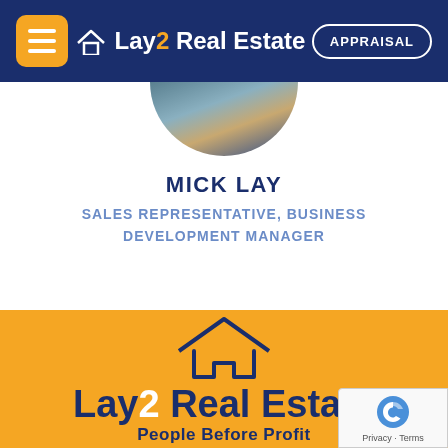Lay2 Real Estate | APPRAISAL
[Figure (photo): Circular cropped profile photo of person, partially visible at top]
MICK LAY
SALES REPRESENTATIVE, BUSINESS DEVELOPMENT MANAGER
[Figure (logo): Lay2 Real Estate logo on orange background with house icon outline and tagline 'People Before Profit']